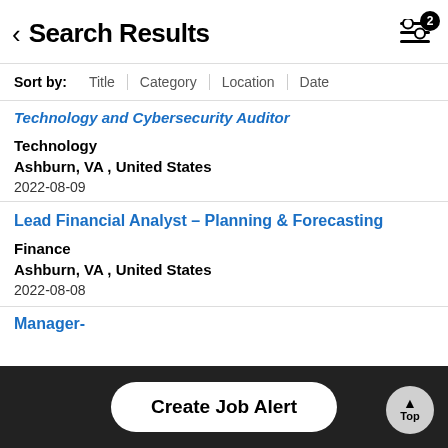Search Results
Sort by: Title | Category | Location | Date
Technology and Cybersecurity Auditor
Technology
Ashburn, VA , United States
2022-08-09
Lead Financial Analyst – Planning & Forecasting
Finance
Ashburn, VA , United States
2022-08-08
Manager-
Create Job Alert